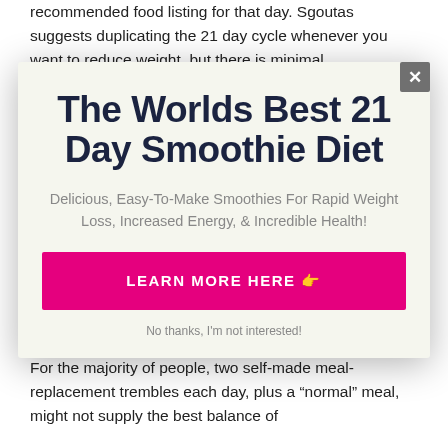recommended food listing for that day. Sgoutas suggests duplicating the 21 day cycle whenever you want to reduce weight, but there is minimal
[Figure (screenshot): Modal popup advertisement for 'The Worlds Best 21 Day Smoothie Diet' with a close button (x), title, subtitle text, and a pink 'LEARN MORE HERE' button, on a light cream/off-white background.]
For the majority of people, two self-made meal-replacement trembles each day, plus a "normal" meal, might not supply the best balance of